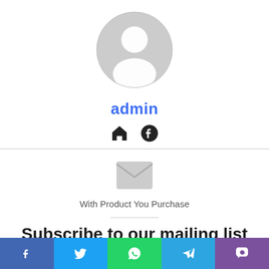[Figure (illustration): Gray default user avatar circle with head and shoulder silhouette]
admin
[Figure (illustration): Home icon and Facebook icon side by side]
[Figure (illustration): Gray envelope/mail icon]
With Product You Purchase
Subscribe to our mailing list
[Figure (illustration): Share bar with Facebook, Twitter, WhatsApp, Telegram, Viber icons]